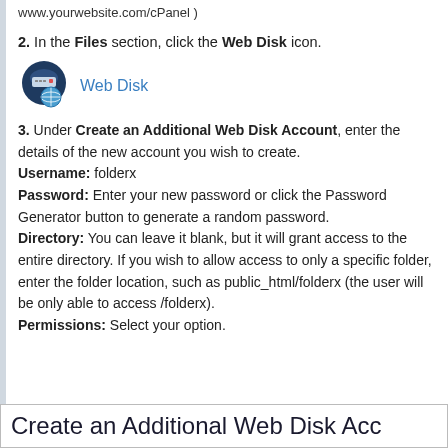www.yourwebsite.com/cPanel )
2. In the Files section, click the Web Disk icon.
[Figure (illustration): Web Disk icon: dark circular icon with server and globe imagery, followed by blue 'Web Disk' link text]
3. Under Create an Additional Web Disk Account, enter the details of the new account you wish to create. Username: folderx Password: Enter your new password or click the Password Generator button to generate a random password. Directory: You can leave it blank, but it will grant access to the entire directory. If you wish to allow access to only a specific folder, enter the folder location, such as public_html/folderx (the user will be only able to access /folderx). Permissions: Select your option.
Create an Additional Web Disk Acc